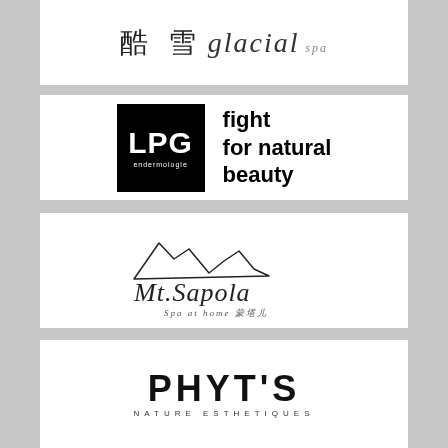[Figure (logo): 酷雪 glacial spa logo — Chinese characters followed by italic 'glacial' and small 'spa']
[Figure (logo): LPG endermologie logo — black square with LPG lettering, tagline 'fight for natural beauty']
[Figure (logo): Mt.Sapola Spa at home logo — mountain silhouette with script lettering and Chinese characters]
[Figure (logo): PHYT'S NATURE ESTHETIQUES logo — bold capital letters]